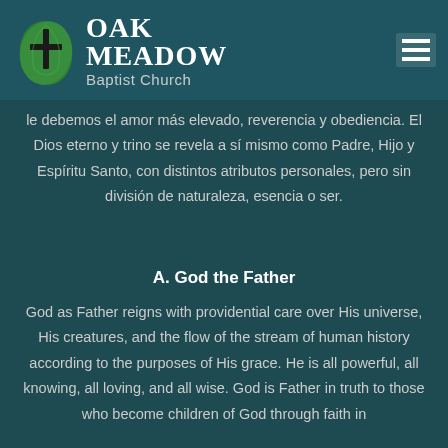[Figure (logo): Oak Meadow Baptist Church logo with a green leaf and cross, next to the church name in white text on a dark teal background]
le debemos el amor más elevado, reverencia y obediencia. El Dios eterno y trino se revela a sí mismo como Padre, Hijo y Espíritu Santo, con distintos atributos personales, pero sin división de naturaleza, esencia o ser.
A. God the Father
God as Father reigns with providential care over His universe, His creatures, and the flow of the stream of human history according to the purposes of His grace. He is all powerful, all knowing, all loving, and all wise. God is Father in truth to those who become children of God through faith in Jesus Christ. He is fatherly in His attitude toward all men.